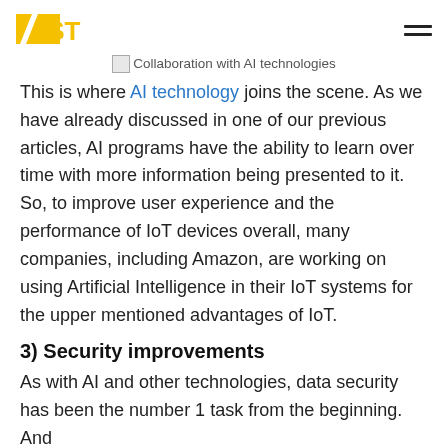AIST
[Figure (photo): Collaboration with AI technologies — image placeholder with broken image icon]
Collaboration with AI technologies
This is where AI technology joins the scene. As we have already discussed in one of our previous articles, AI programs have the ability to learn over time with more information being presented to it. So, to improve user experience and the performance of IoT devices overall, many companies, including Amazon, are working on using Artificial Intelligence in their IoT systems for the upper mentioned advantages of IoT.
3) Security improvements
As with AI and other technologies, data security has been the number 1 task from the beginning. And